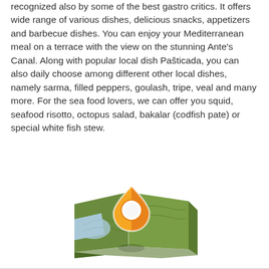recognized also by some of the best gastro critics. It offers wide range of various dishes, delicious snacks, appetizers and barbecue dishes. You can enjoy your Mediterranean meal on a terrace with the view on the stunning Ante's Canal. Along with popular local dish Pašticada, you can also daily choose among different other local dishes, namely sarma, filled peppers, goulash, tripe, veal and many more. For the sea food lovers, we can offer you squid, seafood risotto, octopus salad, bakalar (codfish pate) or special white fish stew.
[Figure (illustration): A map location pin icon in orange and yellow, placed on top of a folded illustrated map in greens and blues.]